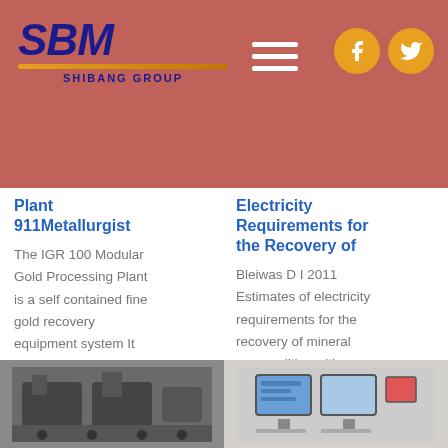[Figure (logo): SBM Shibang Group logo in blue italic lettering with gold/orange underline stripe, white text on terracotta/red background]
[Figure (other): Hamburger menu icon (three white horizontal lines) on red header background]
[Figure (other): Facebook and Twitter social media icons in gold/orange circular buttons]
Plant 911Metallurgist
The IGR 100 Modular Gold Processing Plant is a self contained fine gold recovery equipment system It uses classification and
Electricity Requirements for the Recovery of
Bleiwas D I 2011 Estimates of electricity requirements for the recovery of mineral commodities with
[Figure (photo): Industrial machinery equipment, dark metallic machines in an outdoor/workshop setting]
[Figure (photo): Indoor scene with monitors/screens on a wall, light-colored room]